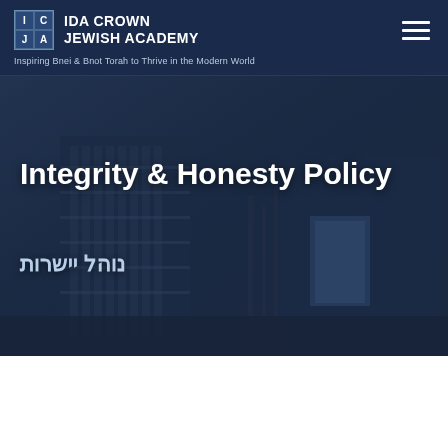[Figure (logo): Ida Crown Jewish Academy logo with ICJA grid and school name]
Inspiring Bnei & Bnot Torah to Thrive in the Modern World
[Figure (photo): Nighttime photo of the Ida Crown Jewish Academy building exterior with dark blue overlay]
Integrity & Honesty Policy
נוהל יישרות